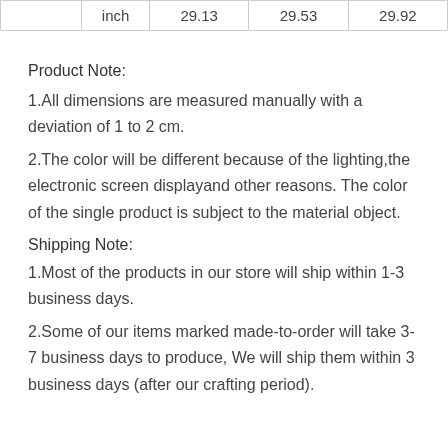|  | inch | 29.13 | 29.53 | 29.92 |
Product Note:
1.All dimensions are measured manually with a deviation of 1 to 2 cm.
2.The color will be different because of the lighting,the electronic screen displayand other reasons. The color of the single product is subject to the material object.
Shipping Note:
1.Most of the products in our store will ship within 1-3 business days.
2.Some of our items marked made-to-order will take 3-7 business days to produce, We will ship them within 3 business days (after our crafting period).